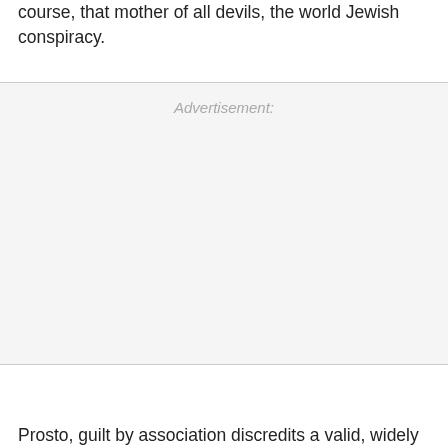course, that mother of all devils, the world Jewish conspiracy.
Advertisement:
Prosto, guilt by association discredits a valid, widely